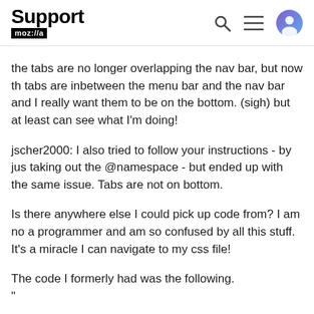Support moz://a
the tabs are no longer overlapping the nav bar, but now the tabs are inbetween the menu bar and the nav bar and I really want them to be on the bottom. (sigh) but at least can see what I'm doing!
jscher2000: I also tried to follow your instructions - by just taking out the @namespace - but ended up with the same issue. Tabs are not on bottom.
Is there anywhere else I could pick up code from? I am not a programmer and am so confused by all this stuff. It's a miracle I can navigate to my css file!
The code I formerly had was the following.
"